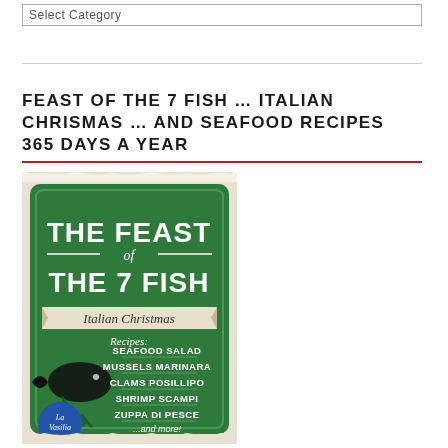Select Category
FEAST OF THE 7 FISH … ITALIAN CHRISMAS … AND SEAFOOD RECIPES 365 DAYS A YEAR
[Figure (photo): Book cover for 'The Feast of the 7 Fish — Italian Christmas Recipes' featuring a green vintage-style design with a fish illustration and recipe list including Seafood Salad, Mussels Marinara, Clams Posillipo, Shrimp Scampi, Zuppa di Pesce, and more, with a La Vasilia logo.]